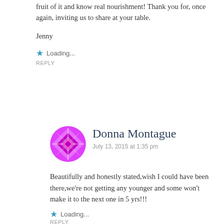fruit of it and know real nourishment! Thank you for, once again, inviting us to share at your table.
Jenny
Loading...
REPLY
Donna Montague
July 13, 2015 at 1:35 pm
Beautifully and honestly stated,wish I could have been there,we're not getting any younger and some won't make it to the next one in 5 yrs!!!
Loading...
REPLY